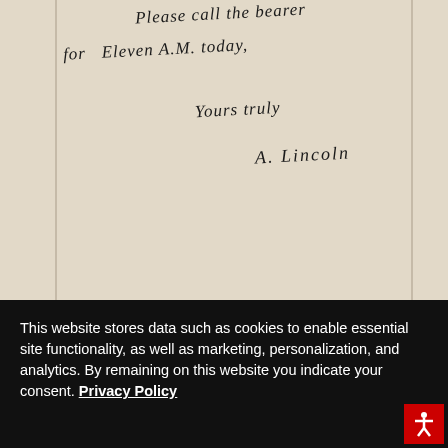[Figure (photo): Scanned handwritten letter on aged paper. Text reads (partial, top of page): 'Please call the bearer for Eleven A.M. today, Yours truly, A. Lincoln']
This website stores data such as cookies to enable essential site functionality, as well as marketing, personalization, and analytics. By remaining on this website you indicate your consent. Privacy Policy